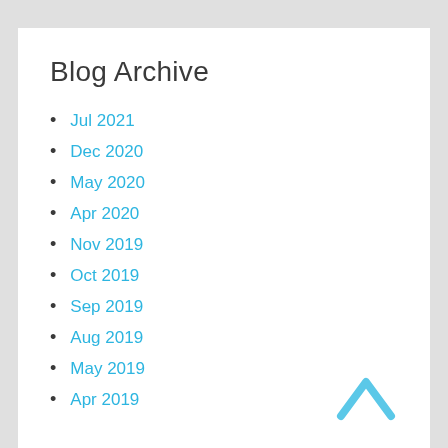Blog Archive
Jul 2021
Dec 2020
May 2020
Apr 2020
Nov 2019
Oct 2019
Sep 2019
Aug 2019
May 2019
Apr 2019
[Figure (illustration): Light blue upward-pointing chevron/arrow icon in the bottom right corner]